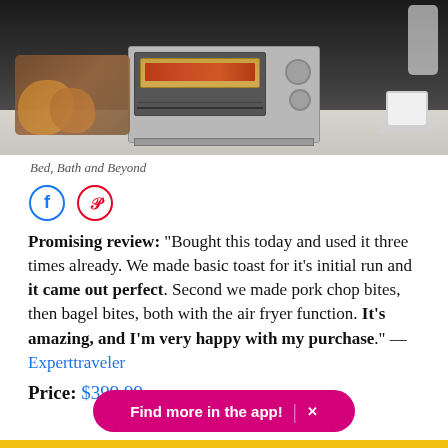[Figure (photo): A toaster oven on a marble countertop with food cooking inside, baked goods on a wooden board to the left, and a coffee cup with saucer to the right. Background is dark.]
Bed, Bath and Beyond
[Figure (infographic): Two social media icon buttons: Facebook (blue circle outline with f logo) and Pinterest (red circle outline with P logo)]
Promising review: "Bought this today and used it three times already. We made basic toast for it's initial run and it came out perfect. Second we made pork chop bites, then bagel bites, both with the air fryer function. It's amazing, and I'm very happy with my purchase." —Experttraveler
Price: $399.99